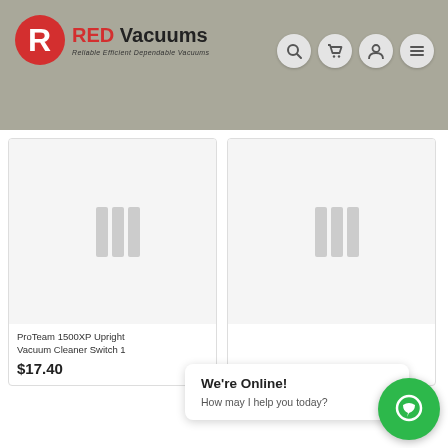[Figure (logo): RED Vacuums logo with red R icon and tagline 'Reliable Efficient Dependable Vacuums']
[Figure (screenshot): Navigation bar with search, cart, account, and menu icons on gray header background]
[Figure (photo): Product card placeholder image for ProTeam 1500XP Upright Vacuum Cleaner Switch]
[Figure (photo): Second product card placeholder image]
ProTeam 1500XP Upright Vacuum Cleaner Switch 1
$17.40
We're Online! How may I help you today?